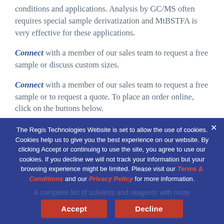conditions and applications. Analysis by GC/MS often requires special sample derivatization and MtBSTFA is very effective for these applications.
Connect with a member of our sales team to request a free sample or discuss custom sizes.
Connect with a member of our sales team to request a free sample or to request a quote. To place an order online, click on the buttons below.
The Regis Technologies Website is set to allow the use of cookies. Cookies help us to give you the best experience on our website. By clicking Accept or continuing to use the site, you agree to use our cookies. If you decline we will not track your information but your browsing experience might be limited. Please visit our Terms & Conditions and our Privacy Policy for more information.